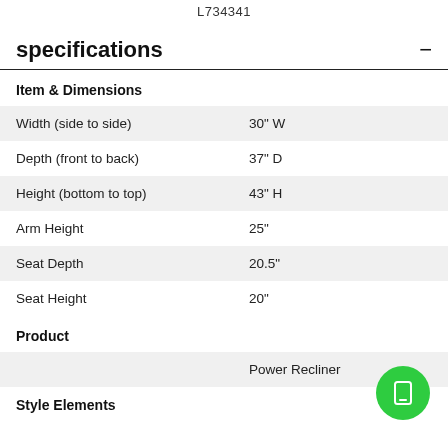L734341
specifications
|  |  |
| --- | --- |
| Item & Dimensions |  |
| Width (side to side) | 30" W |
| Depth (front to back) | 37" D |
| Height (bottom to top) | 43" H |
| Arm Height | 25" |
| Seat Depth | 20.5" |
| Seat Height | 20" |
Product
|  |  |
| --- | --- |
|  | Power Recliner |
Style Elements